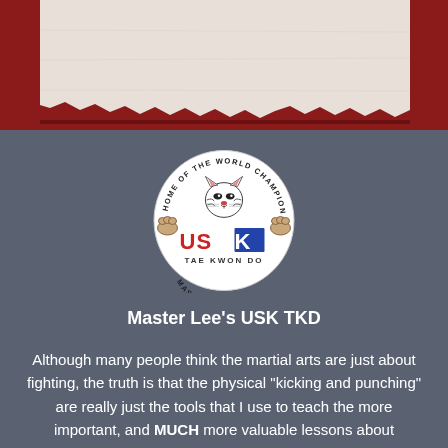[Figure (photo): Top portion of page showing a torn photo/image against a dark red background]
[Figure (logo): USK Taekwondo circular logo with tiger face, text reading HOME OF THE WORLD CHAMPION around the top, USK in red/blue letters in the center, TAE KWON DO below, and MASTER LEE'S at the bottom]
Master Lee's USK TKD
Although many people think the martial arts are just about fighting, the truth is that the physical “kicking and punching” are really just the tools that I use to teach the more important, and MUCH more valuable lessons about